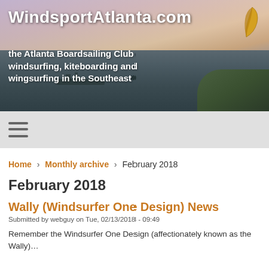[Figure (photo): Website banner header showing a water/sailing scene at dusk with a ship on the water, forested hills on the right, and a pink/purple sky. A yellow kite icon appears in the top right corner.]
WindsportAtlanta.com
the Atlanta Boardsailing Club
windsurfing, kiteboarding and
wingsurfing in the Southeast
≡ (hamburger menu)
Home > Monthly archive > February 2018
February 2018
Wally (Windsurfer One Design) News
Submitted by webguy on Tue, 02/13/2018 - 09:49
Remember the Windsurfer One Design (affectionately known as the Wally)...